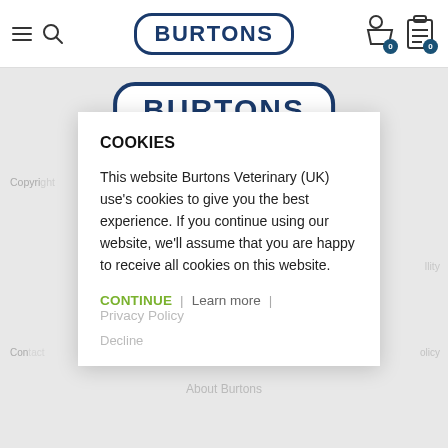BURTONS
[Figure (logo): Burtons logo in rounded rectangle border, large version in gray background area]
COOKIES
This website Burtons Veterinary (UK) use's cookies to give you the best experience. If you continue using our website, we'll assume that you are happy to receive all cookies on this website.
CONTINUE | Learn more | Privacy Policy
Decline
Copyright ... nt Ltd.
Contact ... policy
About Burtons